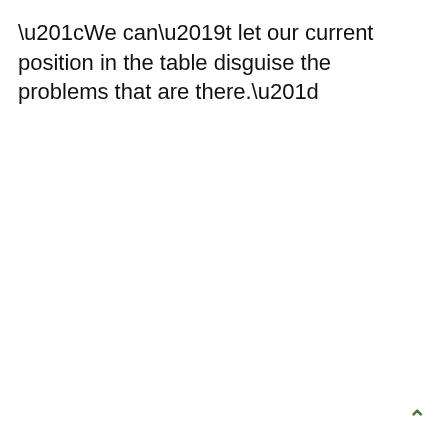“We can’t let our current position in the table disguise the problems that are there.”